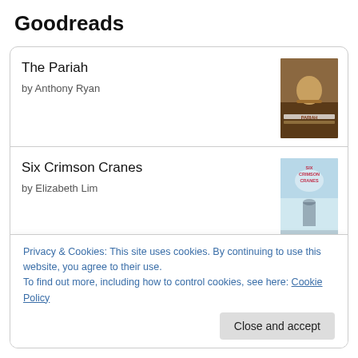Goodreads
The Pariah
by Anthony Ryan
Six Crimson Cranes
by Elizabeth Lim
A Court of Silver Flames
by Sarah J. Maas
Magician
Privacy & Cookies: This site uses cookies. By continuing to use this website, you agree to their use.
To find out more, including how to control cookies, see here: Cookie Policy
Close and accept